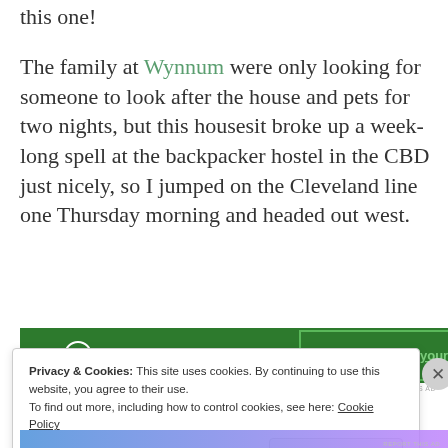this one!
The family at Wynnum were only looking for someone to look after the house and pets for two nights, but this housesit broke up a week-long spell at the backpacker hostel in the CBD just nicely, so I jumped on the Cleveland line one Thursday morning and headed out west.
[Figure (screenshot): Green Jetpack advertisement banner with logo on left and 'Back up your site' button on right]
Privacy & Cookies: This site uses cookies. By continuing to use this website, you agree to their use.
To find out more, including how to control cookies, see here: Cookie Policy
Close and accept